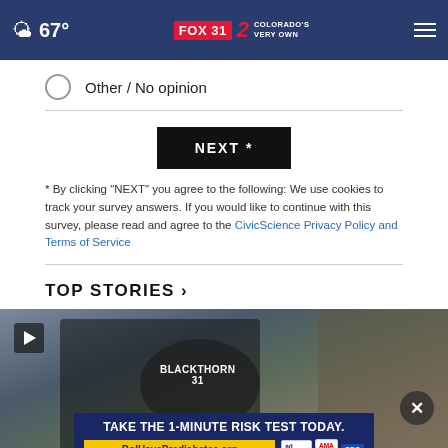67° FOX 31 2 COLORADO'S VERY OWN
Other / No opinion
NEXT *
* By clicking "NEXT" you agree to the following: We use cookies to track your survey answers. If you would like to continue with this survey, please read and agree to the CivicScience Privacy Policy and Terms of Service
TOP STORIES ›
[Figure (screenshot): Video thumbnail showing a person in a black t-shirt with a play button overlay and a close button. An advertisement banner at the bottom reads 'TAKE THE 1-MINUTE RISK TEST TODAY. DoIHavePrediabetes.org' with ad, AMA, and CDC logos.]